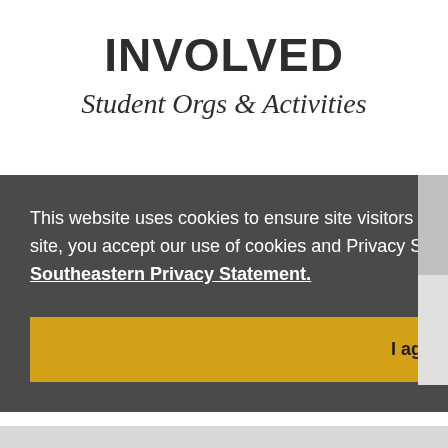INVOLVED
Student Orgs & Activities
This website uses cookies to ensure site visitors enjoy the best experience. By continuing to use this site, you accept our use of cookies and Privacy Statement. To learn more, please visit Southeastern Privacy Statement.
I agree